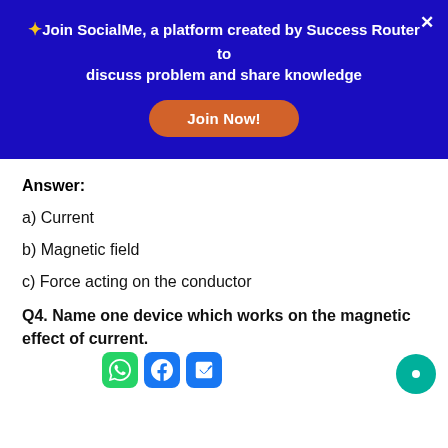[Figure (other): Dark blue promotional banner with text 'Join SocialMe, a platform created by Success Router to discuss problem and share knowledge', a 'Join Now!' orange button, and a white X close button]
Answer:
a) Current
b) Magnetic field
c) Force acting on the conductor
Q4. Name one device which works on the magnetic effect of current.